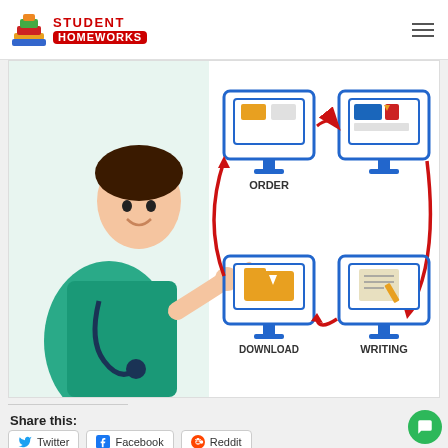[Figure (logo): Student Homeworks logo with stacked books icon and red text]
[Figure (infographic): Infographic showing homework order cycle: ORDER → payment → WRITING → DOWNLOAD with red arrows in a circle, and a smiling nurse/student in green scrubs pointing right]
Share this:
[Figure (other): Twitter share button]
[Figure (other): Facebook share button]
[Figure (other): Reddit share button]